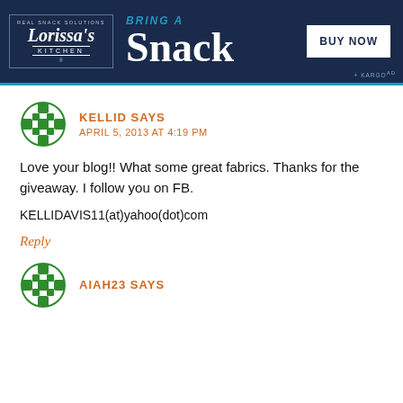[Figure (illustration): Lorissa's Kitchen advertisement banner with dark navy background. Shows Lorissa's Kitchen logo on the left, 'BRING A Snack' text in center, and 'BUY NOW' button on the right. Kargo Ad label at bottom right.]
KELLID SAYS
APRIL 5, 2013 AT 4:19 PM
Love your blog!! What some great fabrics. Thanks for the giveaway. I follow you on FB.
KELLIDAVIS11(at)yahoo(dot)com
Reply
AIAH23 SAYS